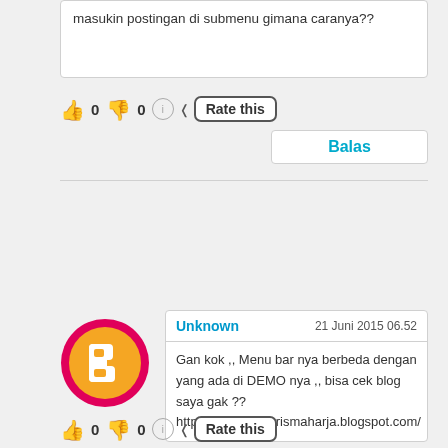masukin postingan di submenu gimana caranya??
[Figure (infographic): Rating widget with thumbs up (0), thumbs down (0), info button, and Rate this button]
Balas
[Figure (illustration): Blogger avatar icon - orange circle with B logo inside pink/red ring]
Unknown   21 Juni 2015 06.52
Gan kok ,, Menu bar nya berbeda dengan yang ada di DEMO nya ,, bisa cek blog saya gak ?? http://yonnatafajarismaharja.blogspot.com/
[Figure (infographic): Rating widget with thumbs up (0), thumbs down (0), info button, and Rate this button]